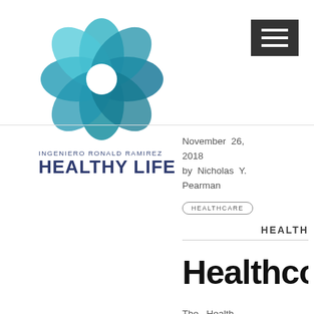[Figure (logo): Ingeniero Ronald Ramirez Healthy Life logo — teal flower/petal shape above text]
[Figure (screenshot): Dark grey hamburger menu button with three white horizontal lines, top right corner]
November 26, 2018 by Nicholas Y. Pearman
HEALTHCARE
HEALTH
Healthco
The Health